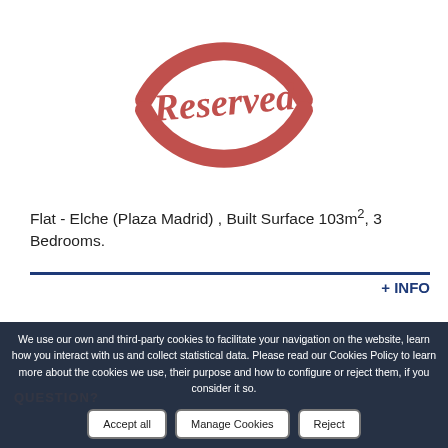[Figure (illustration): Red circular stamp-style graphic with the word 'Reserved' in bold serif italic font, partially visible circle arc]
Flat - Elche (Plaza Madrid) , Built Surface 103m², 3 Bedrooms.
+ INFO
QUESTION?
We use our own and third-party cookies to facilitate your navigation on the website, learn how you interact with us and collect statistical data. Please read our Cookies Policy to learn more about the cookies we use, their purpose and how to configure or reject them, if you consider it so.
Accept all
Manage Cookies
Reject